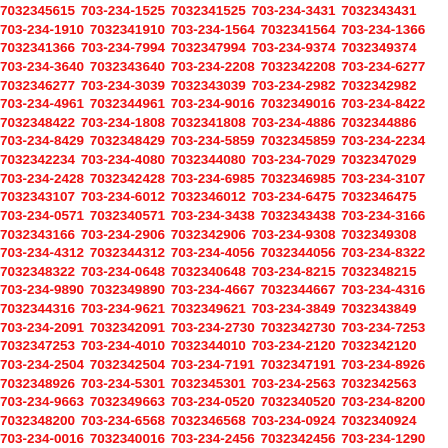7032345615 703-234-1525 7032341525 703-234-3431 7032343431 703-234-1910 7032341910 703-234-1564 7032341564 703-234-1366 7032341366 703-234-7994 7032347994 703-234-9374 7032349374 703-234-3640 7032343640 703-234-2208 7032342208 703-234-6277 7032346277 703-234-3039 7032343039 703-234-2982 7032342982 703-234-4961 7032344961 703-234-9016 7032349016 703-234-8422 7032348422 703-234-1808 7032341808 703-234-4886 7032344886 703-234-8429 7032348429 703-234-5859 7032345859 703-234-2234 7032342234 703-234-4080 7032344080 703-234-7029 7032347029 703-234-2428 7032342428 703-234-6985 7032346985 703-234-3107 7032343107 703-234-6012 7032346012 703-234-6475 7032346475 703-234-0571 7032340571 703-234-3438 7032343438 703-234-3166 7032343166 703-234-2906 7032342906 703-234-9308 7032349308 703-234-4312 7032344312 703-234-4056 7032344056 703-234-8322 7032348322 703-234-0648 7032340648 703-234-8215 7032348215 703-234-9890 7032349890 703-234-4667 7032344667 703-234-4316 7032344316 703-234-9621 7032349621 703-234-3849 7032343849 703-234-2091 7032342091 703-234-2730 7032342730 703-234-7253 7032347253 703-234-4010 7032344010 703-234-2120 7032342120 703-234-2504 7032342504 703-234-7191 7032347191 703-234-8926 7032348926 703-234-5301 7032345301 703-234-2563 7032342563 703-234-9663 7032349663 703-234-0520 7032340520 703-234-8200 7032348200 703-234-6568 7032346568 703-234-0924 7032340924 703-234-0016 7032340016 703-234-2456 7032342456 703-234-1290 7032341290 703-234-9749 7032349749 703-234-2012 7032342012 703-234-5507 7032345507 703-234-0458 7032340458 703-2